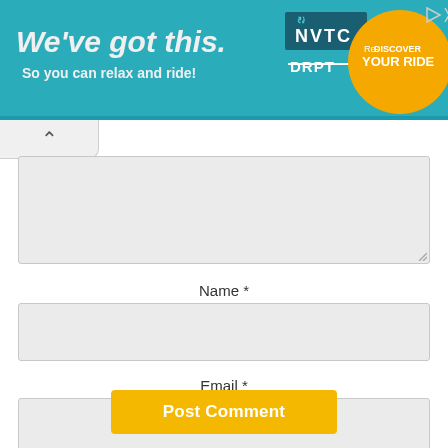[Figure (screenshot): Advertisement banner with teal background. Left side: large italic bold text 'We've got this.' and smaller bold text 'So you can relax and ride!'. Right side: NVTC logo, DRPT logo with strikethrough style, and orange circle with 'Re-DISCOVER YOUR RIDE' text. Top-right corner has play and close icons.]
[Figure (screenshot): Web form screenshot showing: a scroll-up chevron tab, a partially visible textarea (comment field), a 'Name *' label with input field, an 'Email *' label with input field, and a yellow 'Post Comment' button.]